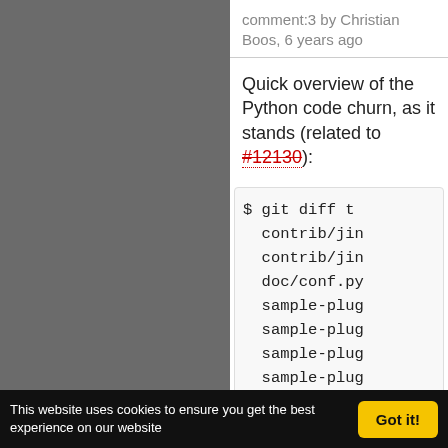comment:3 by Christian Boos, 6 years ago
Quick overview of the Python code churn, as it stands (related to #12130):
[Figure (screenshot): Code block showing git diff command output with file list including contrib/jin, doc/conf.py, sample-plug (multiple), setup.py, trac/about., trac/admin/ entries]
This website uses cookies to ensure you get the best experience on our website